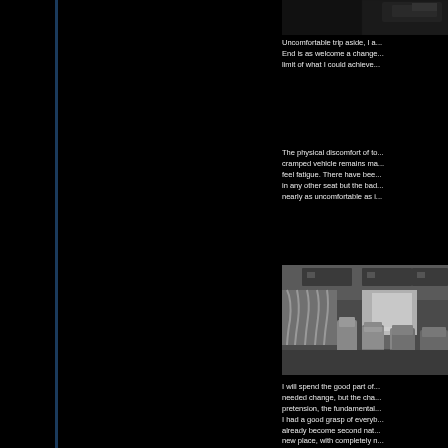[Figure (illustration): Partial dark image at top right, appears to be a vehicle or bus exterior shot, mostly cropped out]
Uncomfortable trip aside, I a... End is as welcome a change... limit of what I could achieve...
The physical discomfort of to... cramped vehicle remains ma... feel fatigue. There have bee... in any other seat but the bad... nearly as uncomfortable as i...
[Figure (illustration): Grayscale illustration of a bus interior showing rows of seats with curtained windows, viewed from the back of the bus]
I will spend the good part of... needed change, but the cha... pretension, the fundamental... I had a good grasp of everyb... already become second nat... new place, with completely n...